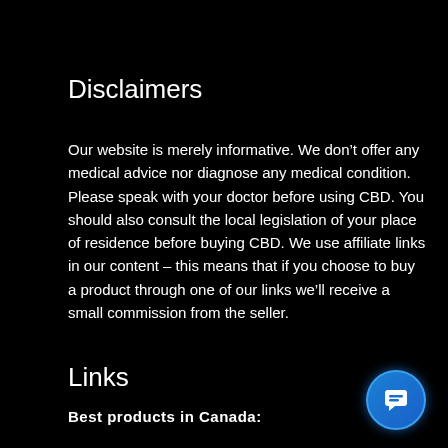Disclaimers
Our website is merely informative. We don't offer any medical advice nor diagnose any medical condition. Please speak with your doctor before using CBD. You should also consult the local legislation of your place of residence before buying CBD. We use affiliate links in our content – this means that if you choose to buy a product through one of our links we'll receive a small commission from the seller.
Links
Best products in Canada:
[Figure (other): Blue circular chat button icon in bottom right corner]